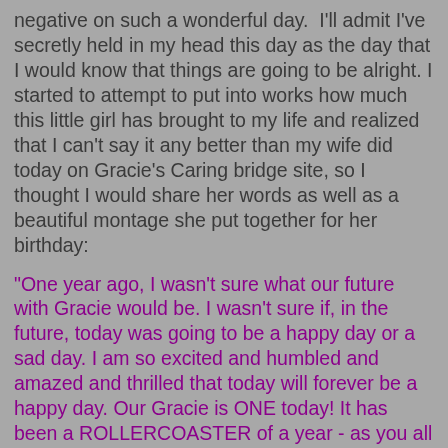negative on such a wonderful day.  I'll admit I've secretly held in my head this day as the day that I would know that things are going to be alright. I started to attempt to put into works how much this little girl has brought to my life and realized that I can't say it any better than my wife did today on Gracie's Caring bridge site, so I thought I would share her words as well as a beautiful montage she put together for her birthday:
"One year ago, I wasn't sure what our future with Gracie would be. I wasn't sure if, in the future, today was going to be a happy day or a sad day. I am so excited and humbled and amazed and thrilled that today will forever be a happy day. Our Gracie is ONE today! It has been a ROLLERCOASTER of a year - as you all know. We have learned SO, SO much about heart defects, hospitals, support from others and celebrating what you have. We would never have learned these things without going through this journey. And we have met the most amazing people. People who are walking the same road we are walking have quickly gone from strangers to close friends. People from all over the country - some who we have never even met in person - have become an